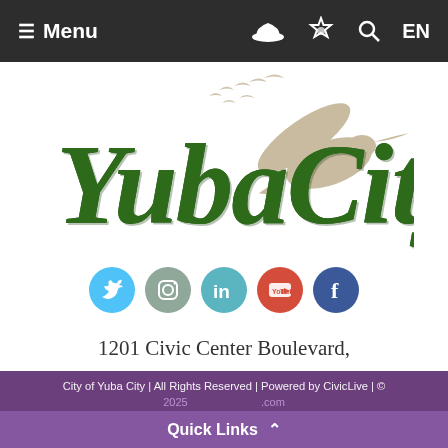≡ Menu | [fire icon] | [star icon] | [search icon] | EN
[Figure (logo): Yuba City logo with decorative green lettering and beige bird/duck silhouettes flying]
[Figure (infographic): Social media icons row: Twitter (blue circle), Instagram (gray-green circle), LinkedIn (teal circle), YouTube (red circle), Facebook (blue circle)]
1201 Civic Center Boulevard,
Yuba City, CA 95993
City of Yuba City | All Rights Reserved | Powered by CivicLive | ©
Quick Links ∧